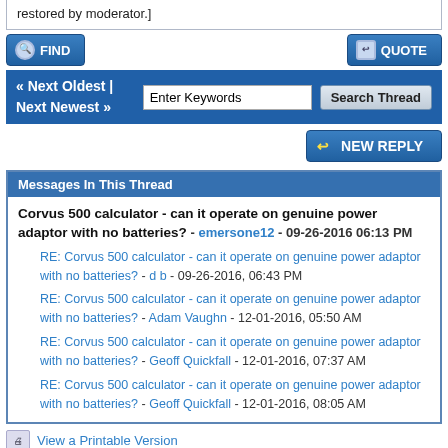[...previously deleted content... restored by moderator.]
FIND   QUOTE
« Next Oldest | Next Newest »   Enter Keywords   Search Thread
NEW REPLY
Messages In This Thread
Corvus 500 calculator - can it operate on genuine power adaptor with no batteries? - emersone12 - 09-26-2016 06:13 PM
RE: Corvus 500 calculator - can it operate on genuine power adaptor with no batteries? - d b - 09-26-2016, 06:43 PM
RE: Corvus 500 calculator - can it operate on genuine power adaptor with no batteries? - Adam Vaughn - 12-01-2016, 05:50 AM
RE: Corvus 500 calculator - can it operate on genuine power adaptor with no batteries? - Geoff Quickfall - 12-01-2016, 07:37 AM
RE: Corvus 500 calculator - can it operate on genuine power adaptor with no batteries? - Geoff Quickfall - 12-01-2016, 08:05 AM
View a Printable Version